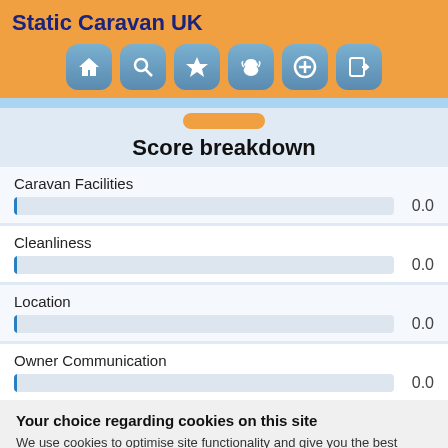Static Caravan UK
[Figure (infographic): Navigation icon bar with 6 rounded blue buttons: home, search, star, dog, plus, and login icons]
Score breakdown
Caravan Facilities 0.0
Cleanliness 0.0
Location 0.0
Owner Communication 0.0
Your choice regarding cookies on this site
We use cookies to optimise site functionality and give you the best possible experience.
Accept
Cookie Preferences